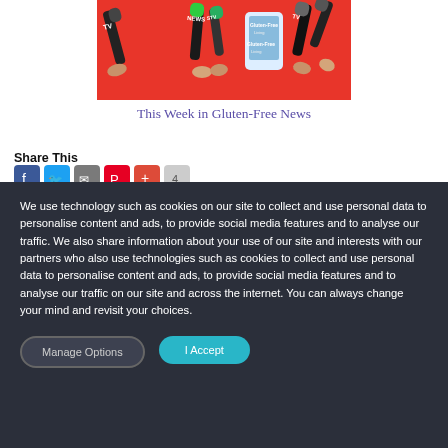[Figure (illustration): Hands holding various microphones and TV news equipment against a red background with Gluten-Free Living magazine logo]
This Week in Gluten-Free News
Share This
[Figure (infographic): Social share icons: Facebook, Twitter, Email, Pinterest, Google+, and a share count button]
We use technology such as cookies on our site to collect and use personal data to personalise content and ads, to provide social media features and to analyse our traffic. We also share information about your use of our site and interests with our partners who also use technologies such as cookies to collect and use personal data to personalise content and ads, to provide social media features and to analyse our traffic on our site and across the internet. You can always change your mind and revisit your choices.
Manage Options
I Accept